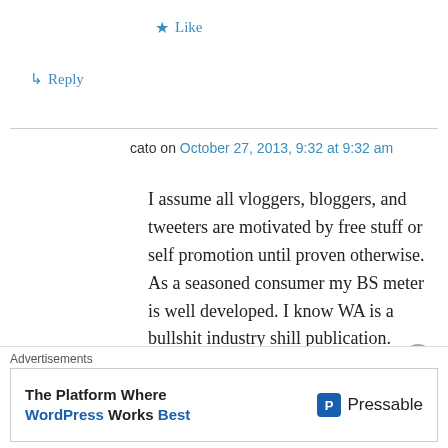★ Like
↳ Reply
cato on October 27, 2013, 9:32 at 9:32 am
I assume all vloggers, bloggers, and tweeters are motivated by free stuff or self promotion until proven otherwise. As a seasoned consumer my BS meter is well developed. I know WA is a bullshit industry shill publication. That is why i leaf through it at the book store and then put it back on the shelf. Are newspapers any different? Nope! At the end if the day it is all irrelevant
Advertisements
The Platform Where WordPress Works Best — Pressable